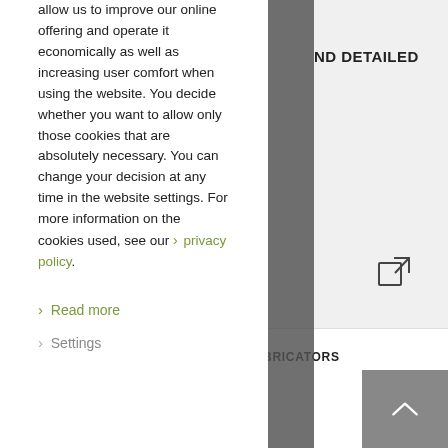allow us to improve our online offering and operate it economically as well as increasing user comfort when using the website. You decide whether you want to allow only those cookies that are absolutely necessary. You can change your decision at any time in the website settings. For more information on the cookies used, see our > privacy policy.
ND DETAILED
AND FABRICATION
> Read more
> Settings
SUPPORT FOR PLANNERS AND FABRICATORS
Schüco BIM Manager